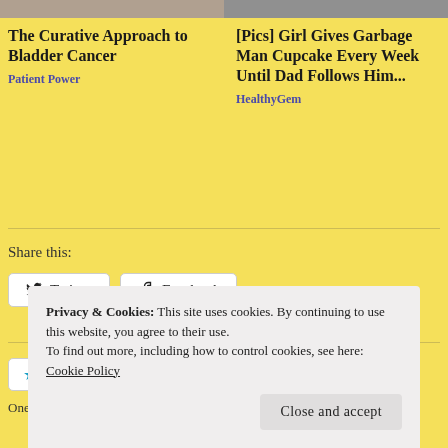[Figure (photo): Top partial images of two article thumbnails cropped at top]
The Curative Approach to Bladder Cancer
Patient Power
[Pics] Girl Gives Garbage Man Cupcake Every Week Until Dad Follows Him...
HealthyGem
Share this:
Twitter
Facebook
Like
One blogger likes this.
Privacy & Cookies: This site uses cookies. By continuing to use this website, you agree to their use.
To find out more, including how to control cookies, see here: Cookie Policy
Close and accept